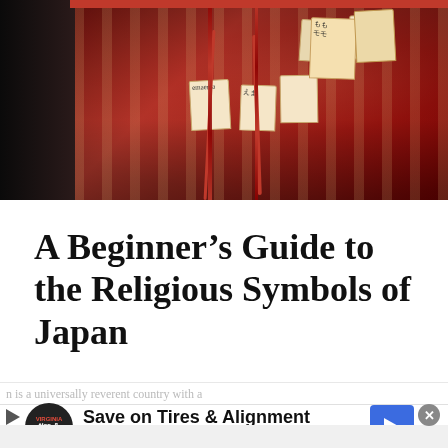[Figure (photo): Photo of Japanese ema wooden wishing plaques hanging on a red structure at a shrine, with red cords and Japanese writing visible]
A Beginner’s Guide to the Religious Symbols of Japan
...n is a universally reverent country with a
infolinks
Save on Tires & Alignment
Virginia Tire & Auto of Ashburn Fa..